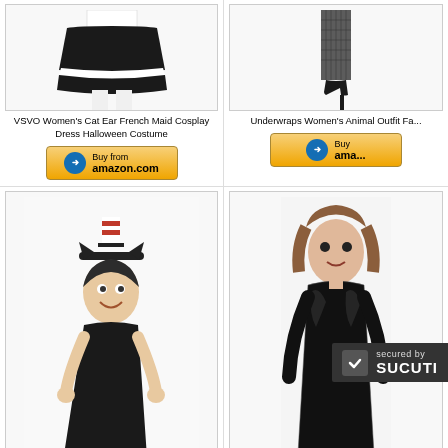[Figure (photo): Product photo of VSVO Women's Cat Ear French Maid Cosplay Dress Halloween Costume - showing black ruffled skirt with white trim and white stockings]
VSVO Women's Cat Ear French Maid Cosplay Dress Halloween Costume
[Figure (other): Buy from amazon.com button - gold/yellow gradient button with Amazon logo]
[Figure (photo): Product photo of Underwraps Women's Animal Outfit Fancy Dress - showing legs in fishnet stockings and high heels]
Underwraps Women's Animal Outfit Fa...
[Figure (other): Buy from amazon.com button - gold/yellow gradient button with Amazon logo]
[Figure (photo): Product photo of Dr. Seuss The Cat in the Hat Teen Accessory Kit - woman wearing black dress with cat ears headband, small striped hat, and red bow tie]
Dr. Seuss The Cat in the Hat Teen Accessory
[Figure (photo): Product photo of Leg Avenue Women's black shiny catsuit costume]
Leg Avenue Women's...